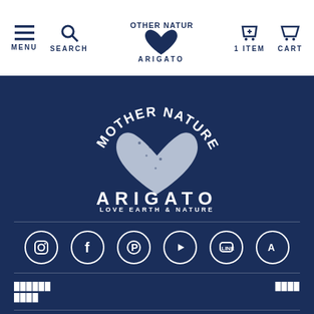MENU  SEARCH  ARIGATO  1 ITEM  CART
[Figure (logo): Mother Nature Arigato logo with heart illustration and text ARIGATO LOVE EARTH & NATURE on dark blue background]
[Figure (infographic): Social media icons row: Instagram, Facebook, Pinterest, YouTube, LINE, App Store]
██████
████
████
██████
██████
██████
██████████
██████